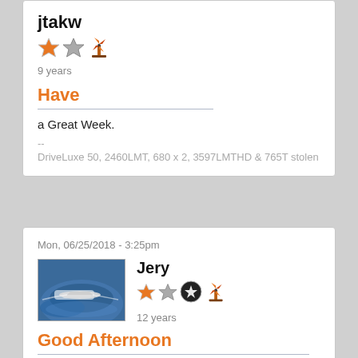jtakw
[Figure (illustration): Two star badges and a windmill badge icon]
9 years
Have
a Great Week.
--
DriveLuxe 50, 2460LMT, 680 x 2, 3597LMTHD & 765T stolen
Mon, 06/25/2018 - 3:25pm
[Figure (photo): A speedboat on blue water]
Jery
[Figure (illustration): Two star badges, a circular badge, and a windmill badge icon]
12 years
Good Afternoon
Have a safe week and stay cool everyone